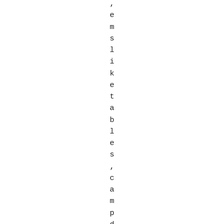emslike tables, campdressers and d